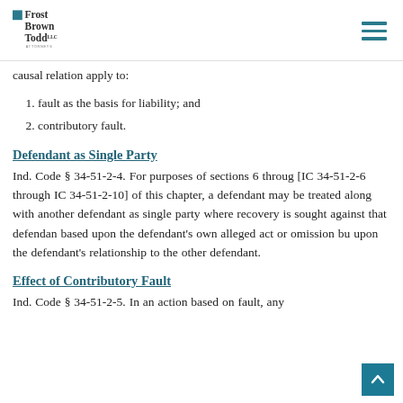Frost Brown Todd LLC — Attorneys
causal relation apply to:
1. fault as the basis for liability; and
2. contributory fault.
Defendant as Single Party
Ind. Code § 34-51-2-4. For purposes of sections 6 through [IC 34-51-2-6 through IC 34-51-2-10] of this chapter, a defendant may be treated along with another defendant as single party where recovery is sought against that defendant based upon the defendant's own alleged act or omission but upon the defendant's relationship to the other defendant.
Effect of Contributory Fault
Ind. Code § 34-51-2-5. In an action based on fault, any